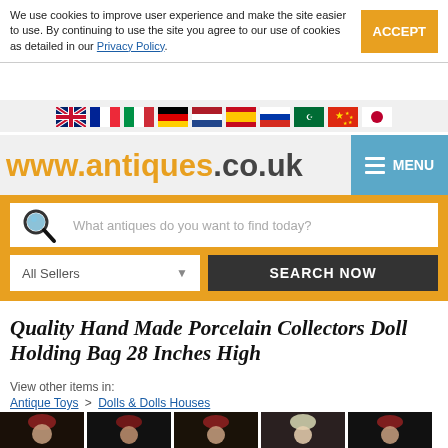We use cookies to improve user experience and make the site easier to use. By continuing to use the site you agree to our use of cookies as detailed in our Privacy Policy.
ACCEPT
[Figure (other): Row of country flag icons: UK, France, Italy, Germany, Netherlands, Spain, Russia, Saudi Arabia, China, Japan]
www.antiques.co.uk
MENU
What antiques do you want to find today?
All Sellers
SEARCH NOW
Quality Hand Made Porcelain Collectors Doll Holding Bag 28 Inches High
View other items in:
Antique Toys > Dolls & Dolls Houses
[Figure (photo): Row of five thumbnail photos showing a porcelain doll with red hat on dark background]